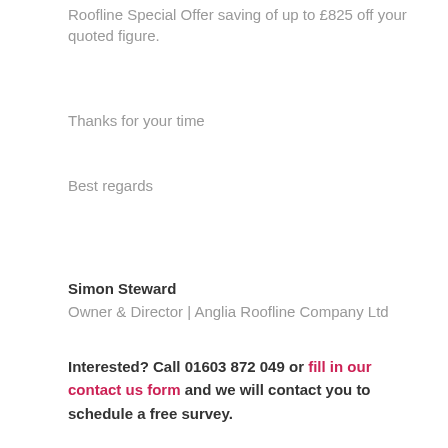Roofline Special Offer saving of up to £825 off your quoted figure.
Thanks for your time
Best regards
Simon Steward
Owner & Director | Anglia Roofline Company Ltd
Interested? Call 01603 872 049 or fill in our contact us form and we will contact you to schedule a free survey.